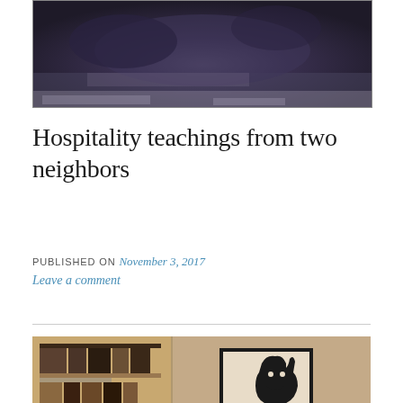[Figure (photo): Top portion of a photo showing what appears to be a dark-colored cat or animal on a surface, dark background tones of purple/dark grey]
Hospitality teachings from two neighbors
PUBLISHED ON November 3, 2017
Leave a comment
[Figure (photo): Photo of a person seated in front of a bookshelf filled with books on the left side, and a beige/tan wall on the right with a framed artwork showing a black cat silhouette]